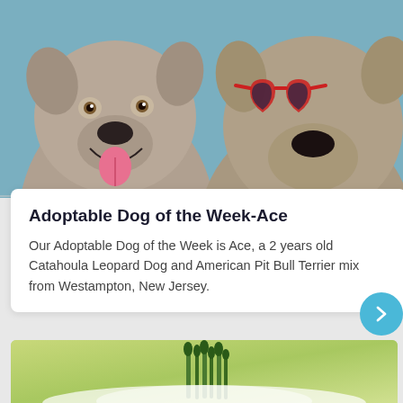[Figure (photo): Two pit bull type dogs side by side against a teal/blue background. Left dog is smiling with mouth open and tongue out. Right dog is wearing red heart-shaped sunglasses and looking forward.]
Adoptable Dog of the Week-Ace
Our Adoptable Dog of the Week is Ace, a 2 years old Catahoula Leopard Dog and American Pit Bull Terrier mix from Westampton, New Jersey.
[Figure (photo): Close-up photo of asparagus spears on a blurred green background, partially visible at the bottom of the page.]